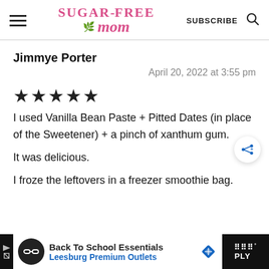Sugar-Free Mom — SUBSCRIBE
Jimmye Porter
April 20, 2022 at 3:55 pm
★★★★★
I used Vanilla Bean Paste + Pitted Dates (in place of the Sweetener) + a pinch of xanthum gum.
It was delicious.
I froze the leftovers in a freezer smoothie bag.
Back To School Essentials — Leesburg Premium Outlets